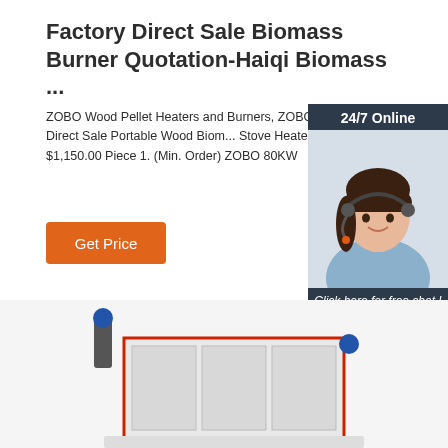Factory Direct Sale Biomass Burner Quotation-Haiqi Biomass ...
ZOBO Wood Pellet Heaters and Burners, ZOBO 40kw Factory Direct Sale Portable Wood Biomass Stove Heaters $1,080.00 - $1,150.00 Piece 1. (Min. Order) ZOBO 80KW
[Figure (photo): Customer service representative with headset, smiling. Widget shows '24/7 Online', 'Click here for free chat!', and 'QUOTATION' button on dark blue background.]
Get Price
[Figure (photo): Industrial biomass burner machine, partially visible at bottom of page.]